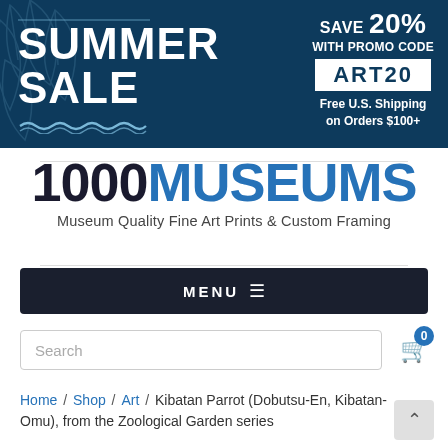[Figure (screenshot): Summer Sale promotional banner with dark blue background, leaf graphics, 'SUMMER SALE' in large white bold text, wavy underline, and promo code 'ART20' for 20% off with free U.S. shipping on orders $100+]
1000MUSEUMS
Museum Quality Fine Art Prints & Custom Framing
MENU ≡
Search
Home / Shop / Art / Kibatan Parrot (Dobutsu-En, Kibatan-Omu), from the Zoological Garden series